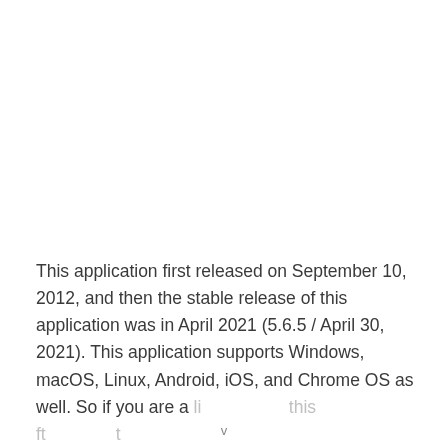This application first released on September 10, 2012, and then the stable release of this application was in April 2021 (5.6.5 / April 30, 2021). This application supports Windows, macOS, Linux, Android, iOS, and Chrome OS as well. So if you are a [text continues below]...
v